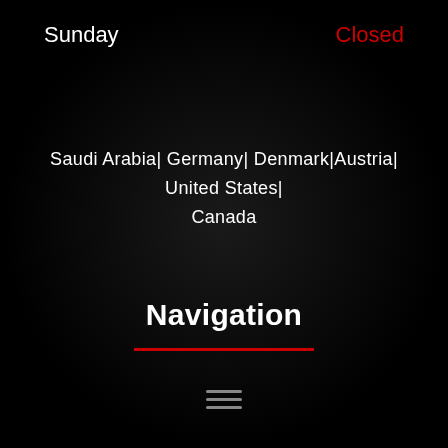Sunday
Closed
Saudi Arabia| Germany| Denmark|Austria| United States| Canada
Navigation
[Figure (other): Red horizontal divider line beneath Navigation heading]
[Figure (other): Hamburger menu icon with three horizontal gray lines]